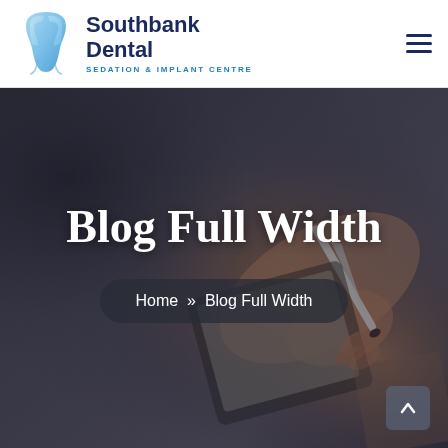[Figure (logo): Southbank Dental tooth logo icon — a stylized tooth in blue and light blue colors]
Southbank Dental
SEDATION & IMPLANT CENTRE
[Figure (photo): Background hero image of a person with dark painted nails holding a pen and writing on a clipboard]
Blog Full Width
Home » Blog Full Width